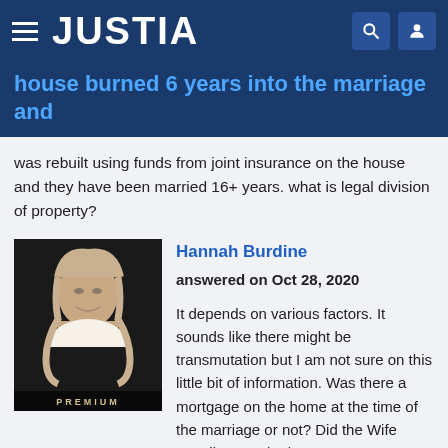JUSTIA
house burned 6 years into the marriage and
was rebuilt using funds from joint insurance on the house and they have been married 16+ years. what is legal division of property?
[Figure (photo): Profile photo of attorney Hannah Burdine, a woman with blonde hair wearing a black blazer. Label reads PREMIUM.]
Hannah Burdine
answered on Oct 28, 2020

It depends on various factors. It sounds like there might be transmutation but I am not sure on this little bit of information. Was there a mortgage on the home at the time of the marriage or not? Did the Wife contribute to the homeowners' insurance, mortgage (if there was one), home equity... Read more »